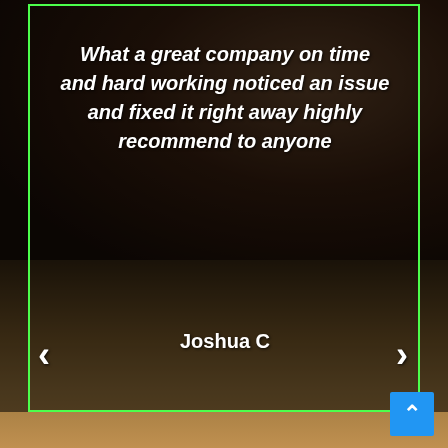[Figure (photo): Dark background photo of excavated soil/ground with irrigation or plumbing equipment visible — a round junction box and white PVC pipes partially buried in brown dirt. The upper portion is very dark due to overlay. A green rectangle border frames the main content area.]
What a great company on time and hard working noticed an issue and fixed it right away highly recommend to anyone
Joshua C